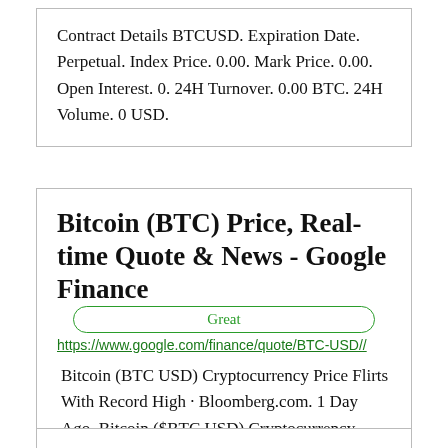Contract Details BTCUSD. Expiration Date. Perpetual. Index Price. 0.00. Mark Price. 0.00. Open Interest. 0. 24H Turnover. 0.00 BTC. 24H Volume. 0 USD.
Bitcoin (BTC) Price, Real-time Quote & News - Google Finance
Great
https://www.google.com/finance/quote/BTC-USD//
Bitcoin (BTC USD) Cryptocurrency Price Flirts With Record High · Bloomberg.com. 1 Day Ago. Bitcoin ($BTC USD) Cryptocurrency Price Rises As Resume Push For ...